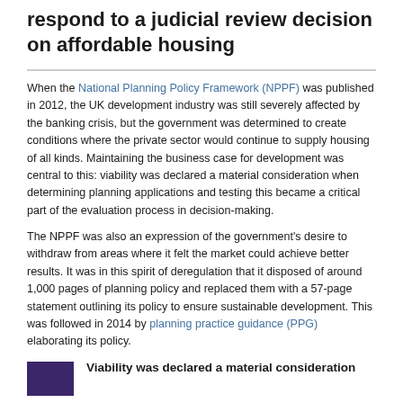respond to a judicial review decision on affordable housing
When the National Planning Policy Framework (NPPF) was published in 2012, the UK development industry was still severely affected by the banking crisis, but the government was determined to create conditions where the private sector would continue to supply housing of all kinds. Maintaining the business case for development was central to this: viability was declared a material consideration when determining planning applications and testing this became a critical part of the evaluation process in decision-making.
The NPPF was also an expression of the government's desire to withdraw from areas where it felt the market could achieve better results. It was in this spirit of deregulation that it disposed of around 1,000 pages of planning policy and replaced them with a 57-page statement outlining its policy to ensure sustainable development. This was followed in 2014 by planning practice guidance (PPG) elaborating its policy.
Viability was declared a material consideration